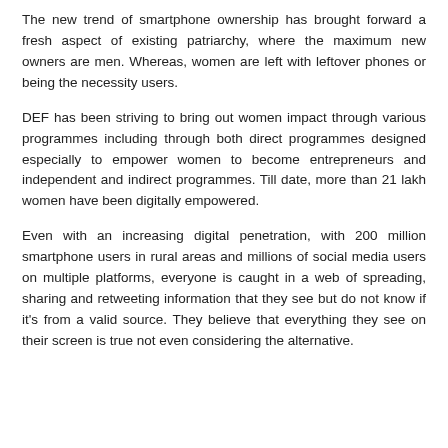The new trend of smartphone ownership has brought forward a fresh aspect of existing patriarchy, where the maximum new owners are men. Whereas, women are left with leftover phones or being the necessity users.
DEF has been striving to bring out women impact through various programmes including through both direct programmes designed especially to empower women to become entrepreneurs and independent and indirect programmes. Till date, more than 21 lakh women have been digitally empowered.
Even with an increasing digital penetration, with 200 million smartphone users in rural areas and millions of social media users on multiple platforms, everyone is caught in a web of spreading, sharing and retweeting information that they see but do not know if it's from a valid source. They believe that everything they see on their screen is true not even considering the alternative.